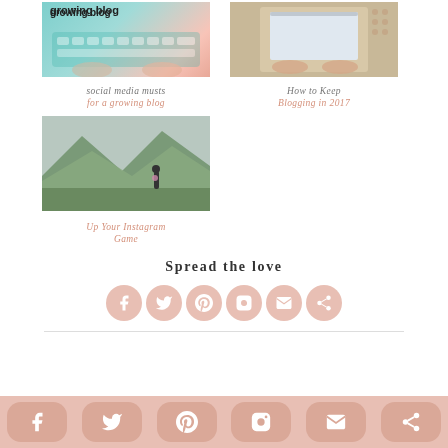[Figure (photo): Keyboard with teal/pink gradient overlay and 'growing blog' text]
social media musts for a growing blog
[Figure (photo): Person typing on laptop from above]
How to Keep Blogging in 2017
[Figure (photo): Person standing in green field with mountains in background]
Up Your Instagram Game
Spread the love
[Figure (infographic): Row of pink social media icons: Facebook, Twitter, Pinterest, Instagram, Email, Share]
[Figure (infographic): Bottom bar with rounded pink social media buttons: Facebook, Twitter, Pinterest, Instagram, Email, Share]